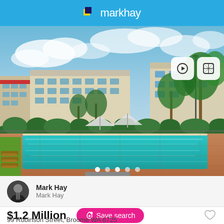markhay
[Figure (photo): Luxury apartment complex with large swimming pool, palm trees, outdoor umbrellas, red paving stones, green lawn, and multi-storey buildings under a partly cloudy blue sky. Broome, WA.]
Mark Hay
Mark Hay
$1.2 Million
Save search
99 Robinson Street, Broome WA 6725